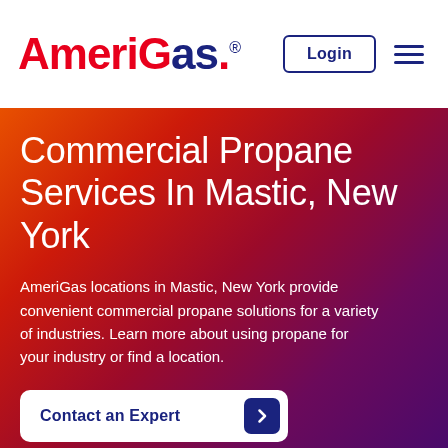[Figure (logo): AmeriGas logo with red 'Ameri' and 'G' and dark navy 'as.' text, registered trademark symbol]
Login
Commercial Propane Services In Mastic, New York
AmeriGas locations in Mastic, New York provide convenient commercial propane solutions for a variety of industries. Learn more about using propane for your industry or find a location.
Contact an Expert
Existing Customers